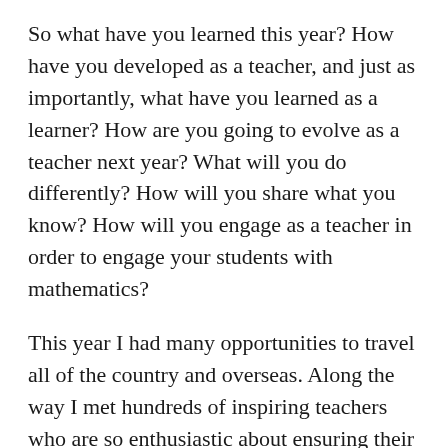So what have you learned this year? How have you developed as a teacher, and just as importantly, what have you learned as a learner? How are you going to evolve as a teacher next year? What will you do differently? How will you share what you know? How will you engage as a teacher in order to engage your students with mathematics?
This year I had many opportunities to travel all of the country and overseas. Along the way I met hundreds of inspiring teachers who are so enthusiastic about ensuring their students have the best opportunities to improve their learning outcomes in mathematics. I have delivered many keynotes and workshops, and this, I believe, has been the best and most rewarding part of what I do. I have written lots of blog post and